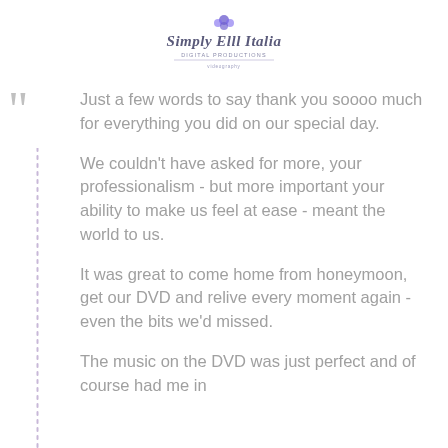[Figure (logo): Simply Elll Stalia logo - handwritten style text with small decorative element above]
Just a few words to say thank you soooo much for everything you did on our special day.

We couldn't have asked for more, your professionalism - but more important your ability to make us feel at ease - meant the world to us.

It was great to come home from honeymoon, get our DVD and relive every moment again - even the bits we'd missed.

The music on the DVD was just perfect and of course had me in